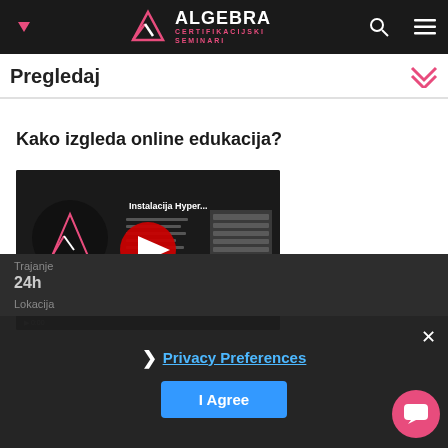[Figure (logo): Algebra Certifikacijski Seminari logo with triangle icon on dark navbar]
Pregledaj
Kako izgleda online edukacija?
[Figure (screenshot): YouTube video thumbnail showing Instalacija Hyper... with Algebra logo and red play button]
Trajanje
24h
Lokacija
Privacy Preferences
I Agree